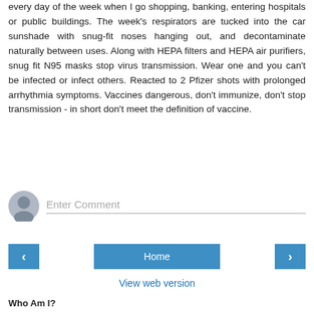every day of the week when I go shopping, banking, entering hospitals or public buildings. The week's respirators are tucked into the car sunshade with snug-fit noses hanging out, and decontaminate naturally between uses. Along with HEPA filters and HEPA air purifiers, snug fit N95 masks stop virus transmission. Wear one and you can't be infected or infect others. Reacted to 2 Pfizer shots with prolonged arrhythmia symptoms. Vaccines dangerous, don't immunize, don't stop transmission - in short don't meet the definition of vaccine.
Reply
Enter Comment
Home
View web version
Who Am I?